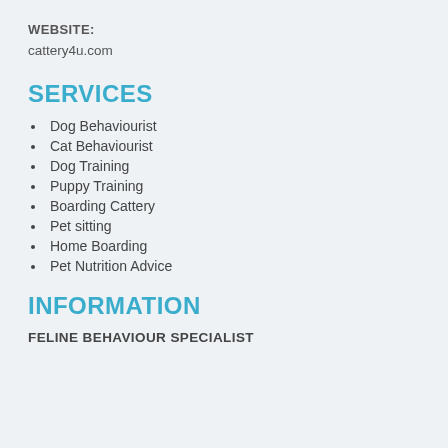WEBSITE:
cattery4u.com
SERVICES
Dog Behaviourist
Cat Behaviourist
Dog Training
Puppy Training
Boarding Cattery
Pet sitting
Home Boarding
Pet Nutrition Advice
INFORMATION
FELINE BEHAVIOUR SPECIALIST